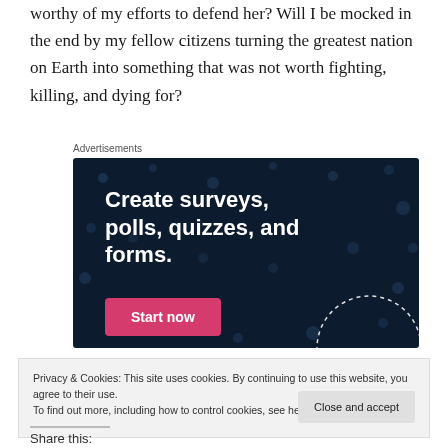worthy of my efforts to defend her? Will I be mocked in the end by my fellow citizens turning the greatest nation on Earth into something that was not worth fighting, killing, and dying for?
[Figure (other): Advertisement banner with dark navy background and scattered dot pattern. White bold text reads 'Create surveys, polls, quizzes, and forms.' A pink/magenta button reads 'Start now'. A partial dotted circle graphic is visible at lower right.]
Privacy & Cookies: This site uses cookies. By continuing to use this website, you agree to their use.
To find out more, including how to control cookies, see here: Cookie Policy
Close and accept
Share this: